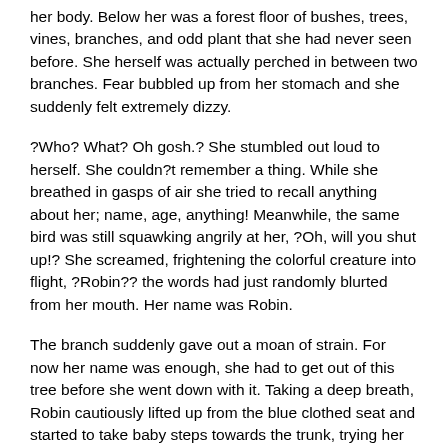her body. Below her was a forest floor of bushes, trees, vines, branches, and odd plant that she had never seen before. She herself was actually perched in between two branches. Fear bubbled up from her stomach and she suddenly felt extremely dizzy.
?Who? What? Oh gosh.? She stumbled out loud to herself. She couldn?t remember a thing. While she breathed in gasps of air she tried to recall anything about her; name, age, anything! Meanwhile, the same bird was still squawking angrily at her, ?Oh, will you shut up!? She screamed, frightening the colorful creature into flight, ?Robin?? the words had just randomly blurted from her mouth. Her name was Robin.
The branch suddenly gave out a moan of strain. For now her name was enough, she had to get out of this tree before she went down with it. Taking a deep breath, Robin cautiously lifted up from the blue clothed seat and started to take baby steps towards the trunk, trying her best not to look down at the forest floor that rested far below. The branch suddenly moaned even louder and started to crumple beneath her torn sneakers. A high pitched scream erupted from her mouth as she leapt towards the